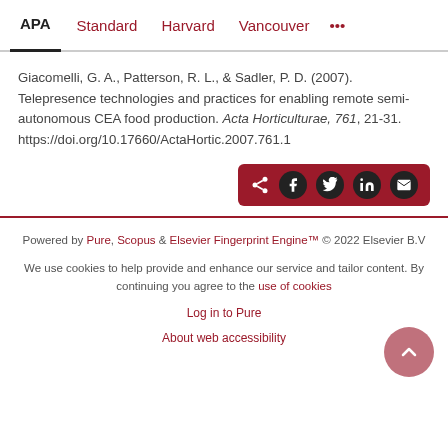APA | Standard | Harvard | Vancouver | ...
Giacomelli, G. A., Patterson, R. L., & Sadler, P. D. (2007). Telepresence technologies and practices for enabling remote semi-autonomous CEA food production. Acta Horticulturae, 761, 21-31. https://doi.org/10.17660/ActaHortic.2007.761.1
[Figure (other): Share button bar with social media icons: share, Facebook, Twitter, LinkedIn, email]
Powered by Pure, Scopus & Elsevier Fingerprint Engine™ © 2022 Elsevier B.V
We use cookies to help provide and enhance our service and tailor content. By continuing you agree to the use of cookies
Log in to Pure
About web accessibility